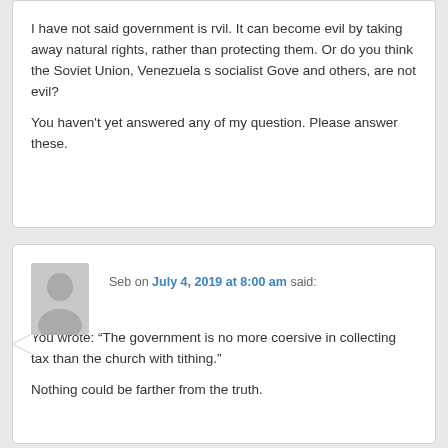I have not said government is rvil. It can become evil by taking away natural rights, rather than protecting them. Or do you think the Soviet Union, Venezuela s socialist Gove and others, are not evil?
You haven't yet answered any of my question. Please answer these.
Seb on July 4, 2019 at 8:00 am said:
GEOFF:
You wrote: “The government is no more coersive in collecting tax than the church with tithing.”
Nothing could be farther from the truth.